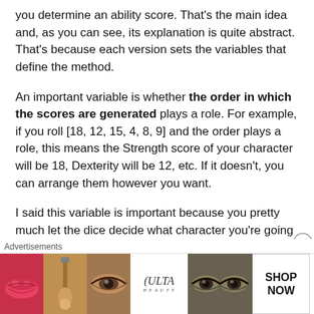you determine an ability score. That's the main idea and, as you can see, its explanation is quite abstract. That's because each version sets the variables that define the method.
An important variable is whether the order in which the scores are generated plays a role. For example, if you roll [18, 12, 15, 4, 8, 9] and the order plays a role, this means the Strength score of your character will be 18, Dexterity will be 12, etc. If it doesn't, you can arrange them however you want.
I said this variable is important because you pretty much let the dice decide what character you're going to play. Even if you could play a wizard with the
[Figure (infographic): Advertisement banner for ULTA Beauty showing cosmetic product images (lips, makeup brush, eye, ULTA logo, eyes with dramatic makeup) and a SHOP NOW button]